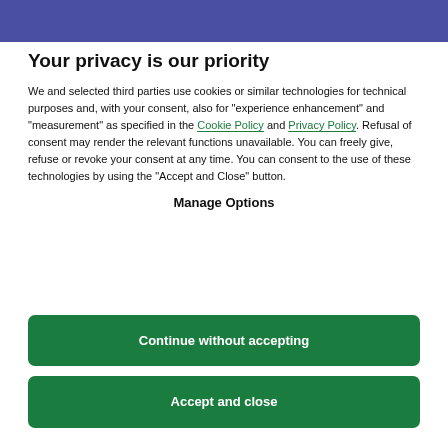Your privacy is our priority
We and selected third parties use cookies or similar technologies for technical purposes and, with your consent, also for "experience enhancement" and "measurement" as specified in the Cookie Policy and Privacy Policy. Refusal of consent may render the relevant functions unavailable. You can freely give, refuse or revoke your consent at any time. You can consent to the use of these technologies by using the "Accept and Close" button.
Manage Options
Continue without accepting
Accept and close